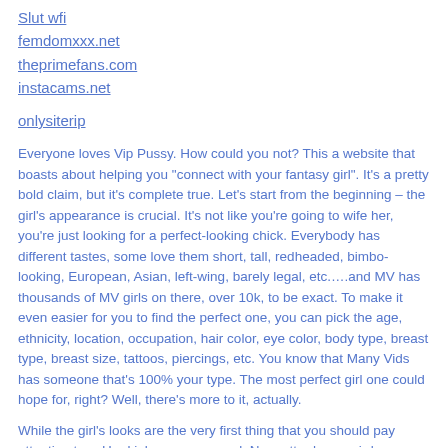Slut wfi
femdomxxx.net
theprimefans.com
instacams.net
onlysiterip
Everyone loves Vip Pussy. How could you not? This a website that boasts about helping you "connect with your fantasy girl". It's a pretty bold claim, but it's complete true. Let's start from the beginning – the girl's appearance is crucial. It's not like you're going to wife her, you're just looking for a perfect-looking chick. Everybody has different tastes, some love them short, tall, redheaded, bimbo-looking, European, Asian, left-wing, barely legal, etc.….and MV has thousands of MV girls on there, over 10k, to be exact. To make it even easier for you to find the perfect one, you can pick the age, ethnicity, location, occupation, hair color, eye color, body type, breast type, breast size, tattoos, piercings, etc. You know that Many Vids has someone that's 100% your type. The most perfect girl one could hope for, right? Well, there's more to it, actually.
While the girl's looks are the very first thing that you should pay attention to… Her kinks come second. No matter how weird you think your kink is, there's a girl on that website pumping out videos catering to your exact fetish. No matter how kinky you think you are, there's a girl shamelessly doing stuff ten times kinkier and ten times weirder. To make a long story slightly shorter: you WILL find your fantasy girl. If